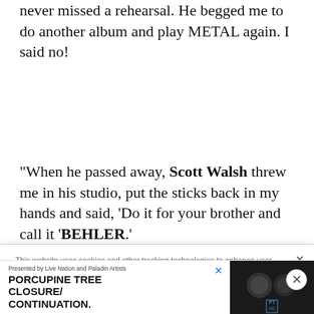never missed a rehearsal. He begged me to do another album and play METAL again. I said no!
"When he passed away, Scott Walsh threw me in his studio, put the sticks back in my hands and said, 'Do it for your brother and call it 'BEHLER.'
This website uses cookies and other tracking technologies to enhance user experience and to analyze performance and traffic on our website. Information about your use of our site may also be shared with social media, advertising, retail and analytics providers and partners. Privacy Policy
Presented by Live Nation and Paladin Artists. PORCUPINE TREE CLOSURE/ CONTINUATION.